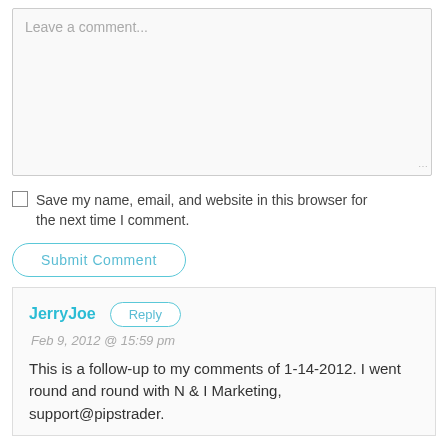Leave a comment...
Save my name, email, and website in this browser for the next time I comment.
Submit Comment
JerryJoe
Reply
Feb 9, 2012 @ 15:59 pm
This is a follow-up to my comments of 1-14-2012. I went round and round with N & I Marketing, support@pipstrader.